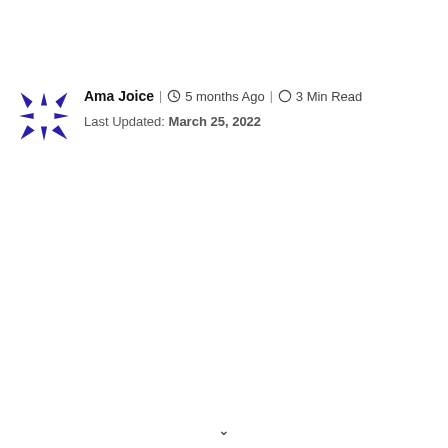[Figure (logo): Decorative star/snowflake logo in dark blue/purple, made of triangular arrow-like petals arranged in a radial pattern]
Ama Joice | 5 months Ago | 3 Min Read
Last Updated: March 25, 2022